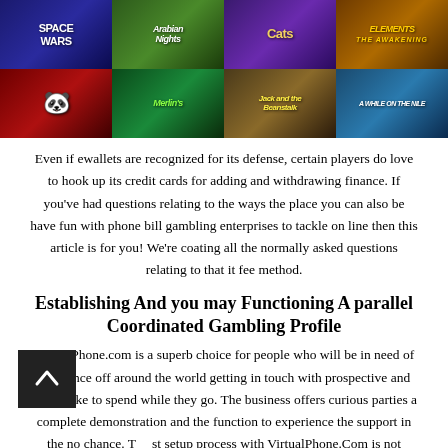[Figure (illustration): 2x4 grid of casino/slot game thumbnails: Space Wars, Arabian Nights, Cats, Elements (top row); Panda game, Merlin's, Jack and the Beanstalk, A While on the Nile (bottom row)]
Even if ewallets are recognized for its defense, certain players do love to hook up its credit cards for adding and withdrawing finance. If you've had questions relating to the ways the place you can also be have fun with phone bill gambling enterprises to tackle on line then this article is for you! We're coating all the normally asked questions relating to that it fee method.
Establishing And you may Functioning A parallel Coordinated Gambling Profile
VirtualPhone.com is a superb choice for people who will be in need of assistance off around the world getting in touch with prospective and would like to spend while they go. The business offers curious parties a complete demonstration and the function to experience the support in the no chance. The setup process with VirtualPhone.Com is not difficult and you will short.